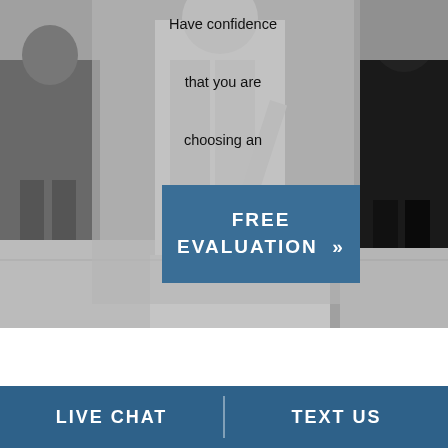[Figure (photo): Black and white street scene with people walking, used as background image for a law firm advertisement]
Have confidence that you are choosing an experienced truck accident attorney
FREE EVALUATION »
LIVE CHAT
TEXT US